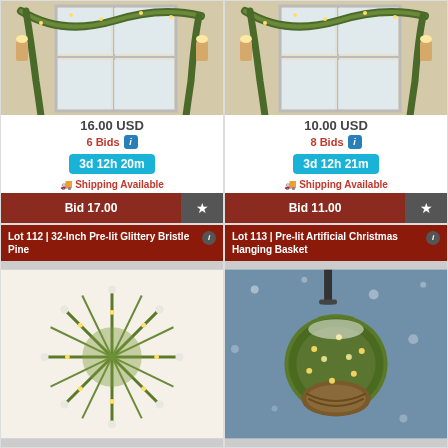[Figure (photo): Decorative greenery garland with lights draped over a white door/window, price 16.00 USD]
16.00 USD
6 Bids
3d 12h 20m
Shipping Available
Bid 17.00
[Figure (photo): Decorative greenery garland with lights draped over a white door/window, price 10.00 USD]
10.00 USD
8 Bids
3d 12h 21m
Shipping Available
Bid 11.00
Lot 112 | 32-Inch Pre-lit Glittery Bristle Pine
[Figure (photo): 32-inch pre-lit glittery bristle pine wreath with warm white lights, starburst shape on white background]
Lot 113 | Pre-lit Artificial Christmas Hanging Basket
[Figure (photo): Pre-lit artificial Christmas hanging basket with warm white lights in winter snowy outdoor setting]